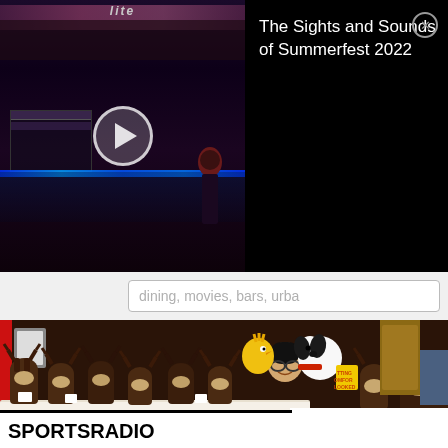[Figure (screenshot): Video thumbnail showing a concert/music festival scene with stage lights and crowd, with a play button overlay. Dark scene with blue LED lighting strip visible.]
The Sights and Sounds of Summerfest 2022
dining, movies, bars, urba
[Figure (photo): Person holding Snoopy and Woodstock plush toys, surrounded by many moose stuffed animals in a bin. A SPORTSRADIO banner is visible at the bottom. Partial text reads: TTING OMFORTABLE VER LOOKED]
SPORTSRADIO